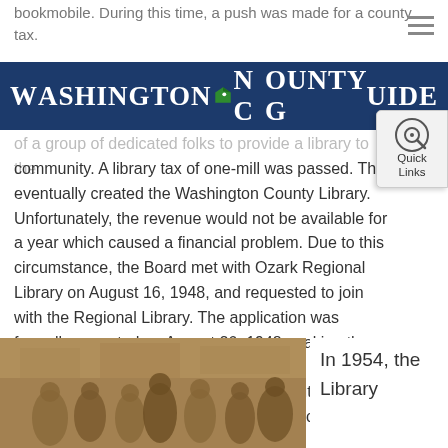bookmobile. During this time, a push was made for a county tax.
Washington County Guide
of a group of dedicated folks to provide a library to the community. A library tax of one-mill was passed. This eventually created the Washington County Library. Unfortunately, the revenue would not be available for a year which caused a financial problem. Due to this circumstance, the Board met with Ozark Regional Library on August 16, 1948, and requested to join with the Regional Library. The application was formally accepted on August 26, 1948, making the library a member of a five county system. This cooperative effort lasted for five years, but on April 30, 1953, Washington County withdrew from the Ozark Regional Library System.
[Figure (photo): Sepia-toned historical photograph showing a group of people, likely in or around a library setting.]
In 1954, the Library